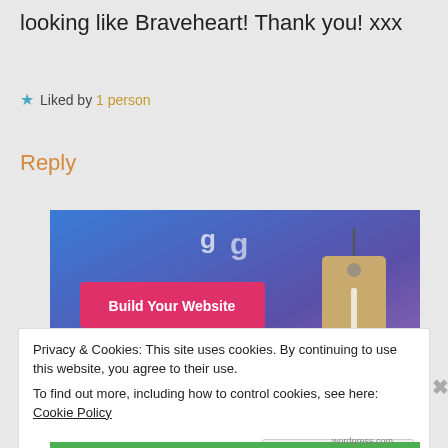looking like Braveheart! Thank you! xxx
★ Liked by 1 person
Reply
[Figure (screenshot): Banner advertisement with blue-to-purple gradient background, pink 'Build Your Website' button on the left, and a tan luggage tag hanging on the right side.]
Privacy & Cookies: This site uses cookies. By continuing to use this website, you agree to their use.
To find out more, including how to control cookies, see here: Cookie Policy
Close and accept